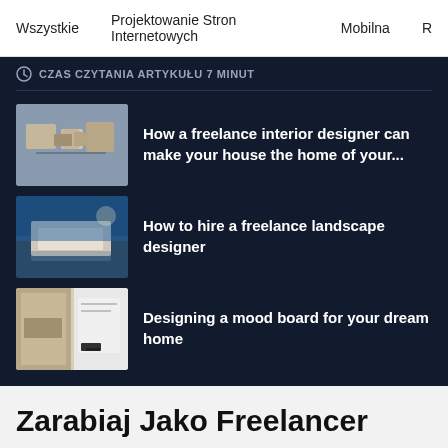Wszystkie   Projektowanie Stron Internetowych   Mobilna   R
CZAS CZYTANIA ARTYKUŁU 7 MINUT
How a freelance interior designer can make your house the home of your...
How to hire a freelance landscape designer
Designing a mood board for your dream home
Zarabiaj Jako Freelancer